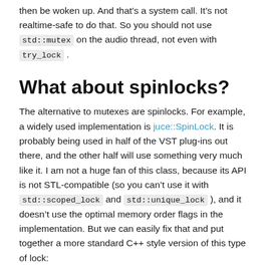then be woken up. And that's a system call. It's not realtime-safe to do that. So you should not use std::mutex on the audio thread, not even with try_lock .
What about spinlocks?
The alternative to mutexes are spinlocks. For example, a widely used implementation is juce::SpinLock. It is probably being used in half of the VST plug-ins out there, and the other half will use something very much like it. I am not a huge fan of this class, because its API is not STL-compatible (so you can't use it with std::scoped_lock and std::unique_lock ), and it doesn't use the optimal memory order flags in the implementation. But we can easily fix that and put together a more standard C++ style version of this type of lock: